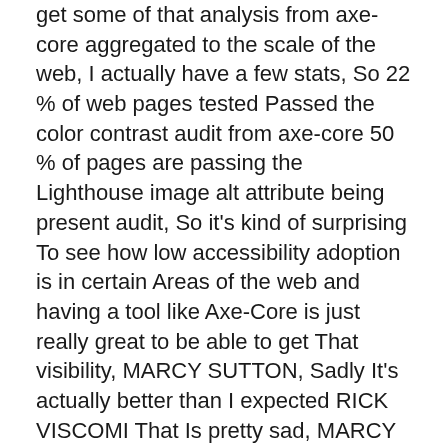get some of that analysis from axe-core aggregated to the scale of the web, I actually have a few stats, So 22 % of web pages tested Passed the color contrast audit from axe-core 50 % of pages are passing the Lighthouse image alt attribute being present audit, So it's kind of surprising To see how low accessibility adoption is in certain Areas of the web and having a tool like Axe-Core is just really great to be able to get That visibility, MARCY SUTTON, Sadly It's actually better than I expected RICK VISCOMI That Is pretty sad, MARCY SUTTON? It is sad Yeah, it's depressing.
There is a project from WebAIM Called The WebAIM Million, where they ran the WAVE automated tool. Against the top 1 million home pages – And that was also a Very sad set of results because, as an industry, We have a lot more work to do a lot of work to Do to make that better